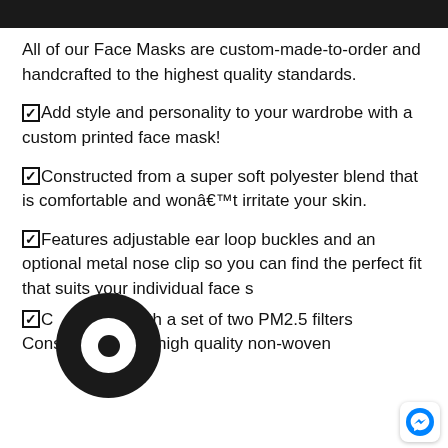[Figure (other): Black header bar at top of page]
All of our Face Masks are custom-made-to-order and handcrafted to the highest quality standards.
☑Add style and personality to your wardrobe with a custom printed face mask!
☑Constructed from a super soft polyester blend that is comfortable and won't irritate your skin.
☑Features adjustable ear loop buckles and an optional metal nose clip so you can find the perfect fit that suits your individual face s[hape].
☑Comes with a set of two PM2.5 filters Constructed from high quality non-woven[...]